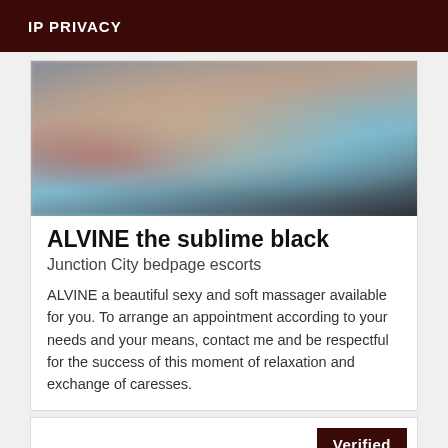IP PRIVACY
[Figure (photo): Blurred close-up photograph showing a person's torso and arm with red, blue and dark background elements]
ALVINE the sublime black
Junction City bedpage escorts
ALVINE a beautiful sexy and soft massager available for you. To arrange an appointment according to your needs and your means, contact me and be respectful for the success of this moment of relaxation and exchange of caresses.
Verified